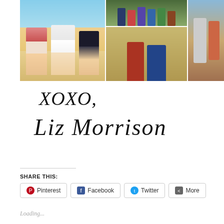[Figure (photo): Photo collage with four images: beach photo of three women in swimwear, group photo of people standing outdoors, two women in formal dresses on stairs, and two women outdoors]
XOXO,
Liz Morrison
SHARE THIS:
Pinterest
Facebook
Twitter
More
Loading...